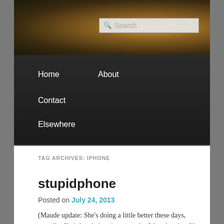[Figure (photo): Website header image showing a blurred outdoor background (green and brown tones) with a cat silhouette, and a search box overlay]
Home  About  Contact  Elsewhere
TAG ARCHIVES: IPHONE
stupidphone
Posted on July 24, 2013
(Maude update: She's doing a little better these days, actually. She's less lethargic, more playful and active. Not